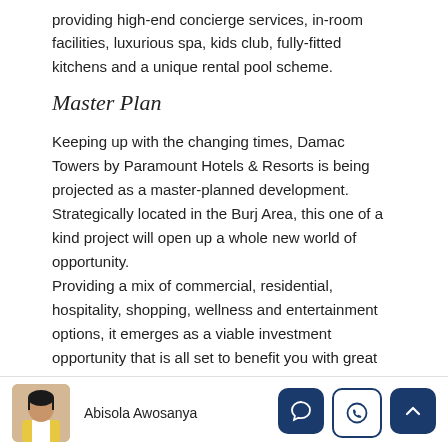providing high-end concierge services, in-room facilities, luxurious spa, kids club, fully-fitted kitchens and a unique rental pool scheme.
Master Plan
Keeping up with the changing times, Damac Towers by Paramount Hotels & Resorts is being projected as a master-planned development. Strategically located in the Burj Area, this one of a kind project will open up a whole new world of opportunity.
Providing a mix of commercial, residential, hospitality, shopping, wellness and entertainment options, it emerges as a viable investment opportunity that is all set to benefit you with great returns.
Most important of all the existing setting and the facilitie...
Abisola Awosanya